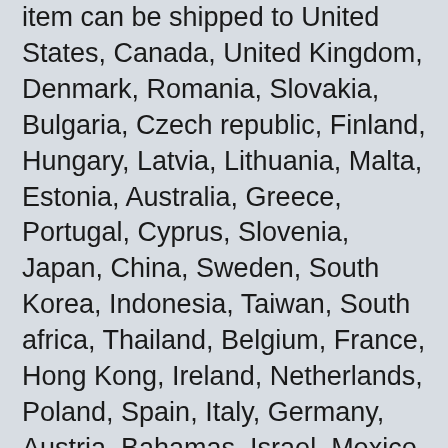item can be shipped to United States, Canada, United Kingdom, Denmark, Romania, Slovakia, Bulgaria, Czech republic, Finland, Hungary, Latvia, Lithuania, Malta, Estonia, Australia, Greece, Portugal, Cyprus, Slovenia, Japan, China, Sweden, South Korea, Indonesia, Taiwan, South africa, Thailand, Belgium, France, Hong Kong, Ireland, Netherlands, Poland, Spain, Italy, Germany, Austria, Bahamas, Israel, Mexico, New Zealand, Philippines, Singapore, Switzerland, Norway, Saudi arabia, Ukraine, United arab emirates, Qatar, Kuwait, Bahrain, Croatia, Malaysia, Chile, Colombia, Costa rica, Dominican republic, Panama, Trinidad and tobago, Guatemala, El salvador, Honduras, Jamaica, Antigua and barbuda, Aruba, Belize, Dominica, Grenada, Saint kitts and nevis, Saint lucia, Montserrat, Turks and